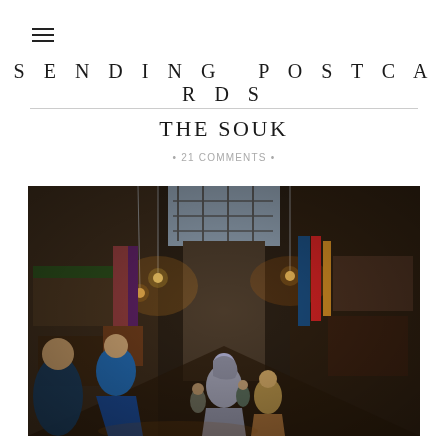☰
SENDING POSTCARDS
THE SOUK
• 21 COMMENTS •
[Figure (photo): Interior view of a bustling covered market souk alleyway at night, lit by warm hanging lights. People walking through narrow passage lined with shops selling textiles and goods, with a glimpse of sky between the tall ancient stone walls overhead.]